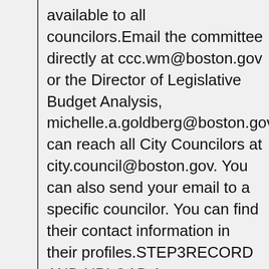available to all councilors.Email the committee directly at ccc.wm@boston.gov or the Director of Legislative Budget Analysis, michelle.a.goldberg@boston.gov.You can reach all City Councilors at city.council@boston.gov. You can also send your email to a specific councilor. You can find their contact information in their profiles.STEP3RECORD AND UPLOAD A VIDEORecord a two-minute video of your testimony regarding any aspect of the budget. After you finish recording your video, complete our form to submit your video for an upcoming hearing:If your video is submitted more than two (2) business